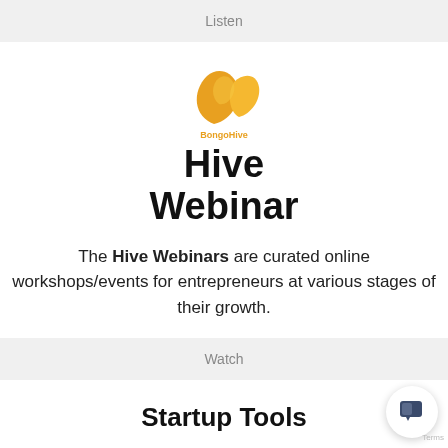Listen
[Figure (logo): BongoHive logo - abstract yellow/orange shape resembling a leaf or hive cell, with text 'BongoHive' below]
Hive Webinar
The Hive Webinars are curated online workshops/events for entrepreneurs at various stages of their growth.
Watch
Startup Tools